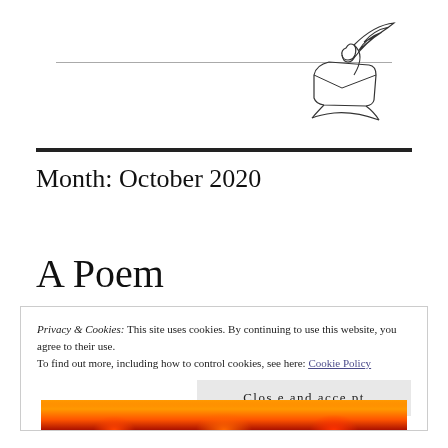[Figure (illustration): Line drawing of a quill pen writing on paper with an inkwell, decorative header illustration for a writing/blog website]
Month: October 2020
A Poem
Privacy & Cookies: This site uses cookies. By continuing to use this website, you agree to their use.
To find out more, including how to control cookies, see here: Cookie Policy
Close and accept